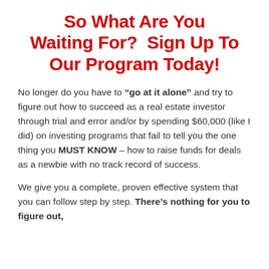So What Are You Waiting For?  Sign Up To Our Program Today!
No longer do you have to “go at it alone” and try to figure out how to succeed as a real estate investor through trial and error and/or by spending $60,000 (like I did) on investing programs that fail to tell you the one thing you MUST KNOW – how to raise funds for deals as a newbie with no track record of success.
We give you a complete, proven effective system that you can follow step by step. There’s nothing for you to figure out,